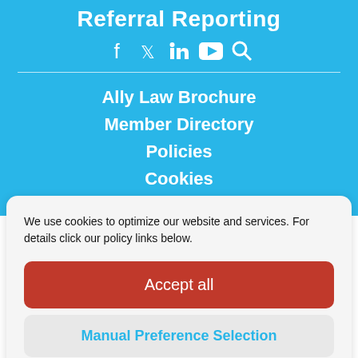Referral Reporting
[Figure (infographic): Social media icons: Facebook, Twitter, LinkedIn, YouTube, Search]
Ally Law Brochure
Member Directory
Policies
Cookies
We use cookies to optimize our website and services. For details click our policy links below.
Accept all
Manual Preference Selection
Cookie policies   POLICIES